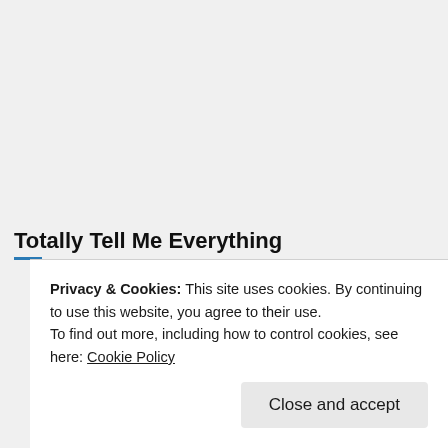Totally Tell Me Everything
Privacy & Cookies: This site uses cookies. By continuing to use this website, you agree to their use.
To find out more, including how to control cookies, see here: Cookie Policy
Close and accept